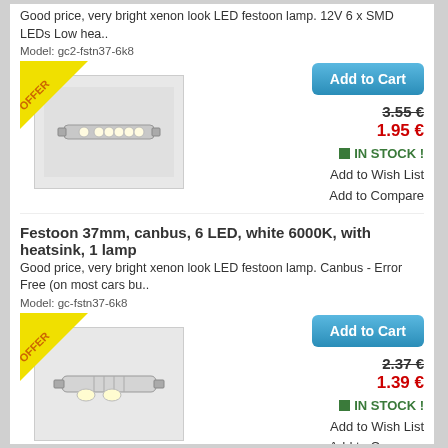Good price, very bright xenon look LED festoon lamp. 12V 6 x SMD LEDs Low hea..
Model: gc2-fstn37-6k8
[Figure (photo): LED festoon lamp product photo with OFFER badge in corner]
Add to Cart
3.55 € (strikethrough original price)
1.95 €
IN STOCK !
Add to Wish List
Add to Compare
Festoon 37mm, canbus, 6 LED, white 6000K, with heatsink, 1 lamp
Good price, very bright xenon look LED festoon lamp. Canbus - Error Free (on most cars bu..
Model: gc-fstn37-6k8
[Figure (photo): LED festoon canbus lamp product photo with OFFER badge in corner]
Add to Cart
2.37 € (strikethrough original price)
1.39 €
IN STOCK !
Add to Wish List
Add to Compare